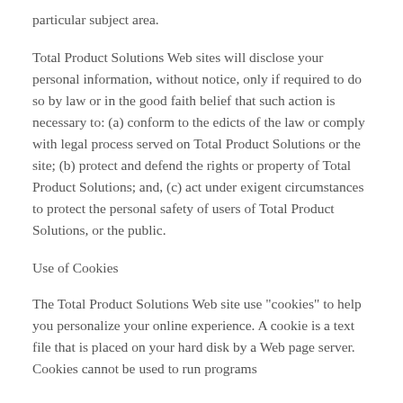particular subject area.
Total Product Solutions Web sites will disclose your personal information, without notice, only if required to do so by law or in the good faith belief that such action is necessary to: (a) conform to the edicts of the law or comply with legal process served on Total Product Solutions or the site; (b) protect and defend the rights or property of Total Product Solutions; and, (c) act under exigent circumstances to protect the personal safety of users of Total Product Solutions, or the public.
Use of Cookies
The Total Product Solutions Web site use "cookies" to help you personalize your online experience. A cookie is a text file that is placed on your hard disk by a Web page server. Cookies cannot be used to run programs